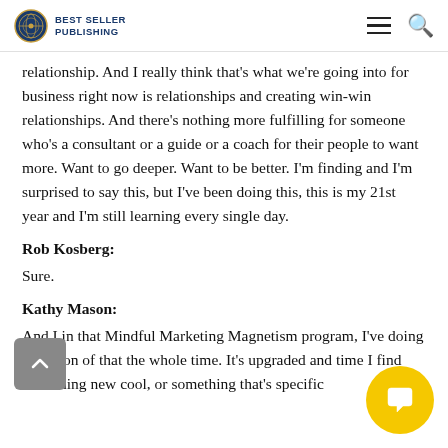Best Seller Publishing
relationship. And I really think that's what we're going into for business right now is relationships and creating win-win relationships. And there's nothing more fulfilling for someone who's a consultant or a guide or a coach for their people to want more. Want to go deeper. Want to be better. I'm finding and I'm surprised to say this, but I've been doing this, this is my 21st year and I'm still learning every single day.
Rob Kosberg:
Sure.
Kathy Mason:
And I in that Mindful Marketing Magnetism program, I've doing a version of that the whole time. It's upgraded and time I find something new cool, or something that's specific